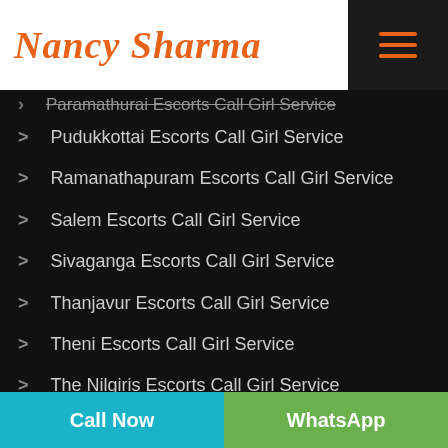[Figure (logo): Nancy Sharma logo in orange italic script font with orange underline border]
Paramathurai Escorts Call Girl Service (partial, top)
Pudukkottai Escorts Call Girl Service
Ramanathapuram Escorts Call Girl Service
Salem Escorts Call Girl Service
Sivaganga Escorts Call Girl Service
Thanjavur Escorts Call Girl Service
Theni Escorts Call Girl Service
The Nilgiris Escorts Call Girl Service
Thiruvallur Escorts Call Girl Service
Call Now | WhatsApp